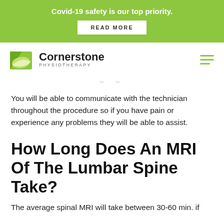Covid-19 safety is our top priority.
[Figure (logo): Cornerstone Physiotherapy logo with green geometric icon and text]
You will be able to communicate with the technician throughout the procedure so if you have pain or experience any problems they will be able to assist.
How Long Does An MRI Of The Lumbar Spine Take?
The average spinal MRI will take between 30-60 min. if